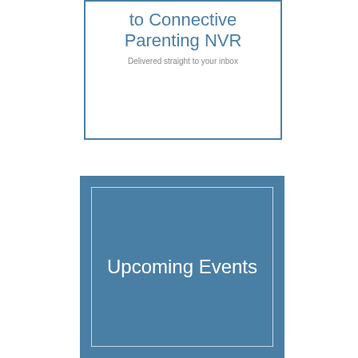to Connective Parenting NVR
Delivered straight to your inbox
Upcoming Events